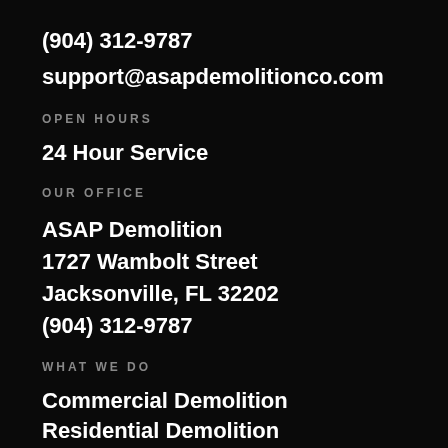(904) 312-9787
support@asapdemolitionco.com
OPEN HOURS
24 Hour Service
OUR OFFICE
ASAP Demolition
1727 Wambolt Street
Jacksonville, FL 32202
(904) 312-9787
WHAT WE DO
Commercial Demolition
Residential Demolition